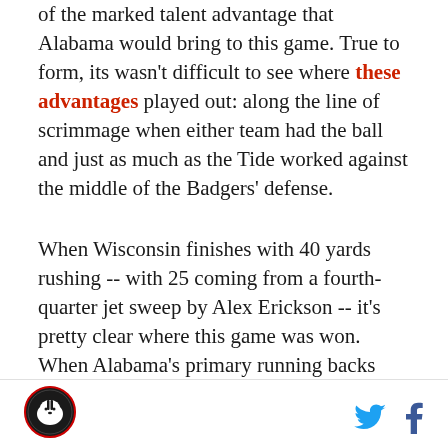of the marked talent advantage that Alabama would bring to this game. True to form, its wasn't difficult to see where these advantages played out: along the line of scrimmage when either team had the ball and just as much as the Tide worked against the middle of the Badgers' defense.
When Wisconsin finishes with 40 yards rushing -- with 25 coming from a fourth-quarter jet sweep by Alex Erickson -- it's pretty clear where this game was won. When Alabama's primary running backs average 9.7 yards per carry on 23 rushing attempts, it's not hard to see how Wisconsin failed to cover 13 points eventually given by professional handicappers. Go back and read nearly all the pre-game analysis (actually, don't do that)
[Figure (logo): Circular logo with badger mascot in black and white]